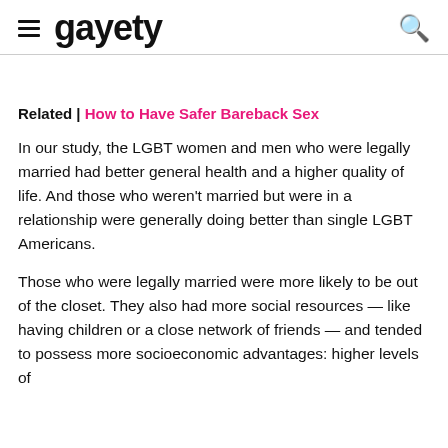gayety
Related | How to Have Safer Bareback Sex
In our study, the LGBT women and men who were legally married had better general health and a higher quality of life. And those who weren't married but were in a relationship were generally doing better than single LGBT Americans.
Those who were legally married were more likely to be out of the closet. They also had more social resources — like having children or a close network of friends — and tended to possess more socioeconomic advantages: higher levels of